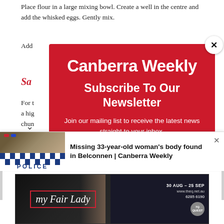Place flour in a large mixing bowl. Create a well in the centre and add the whisked eggs. Gently mix.
Add [partially obscured by modal] panc[partially obscured]
Sa[partially obscured]
For t[partially obscured] ce in a hig[partially obscured] no chun[partially obscured] . throu[partially obscured]
[Figure (screenshot): Canberra Weekly newsletter subscription modal overlay with red background, white text logo 'Canberra Weekly', 'Subscribe To Our Newsletter', and subtext 'Join our mailing list to receive the latest news straight to your inbox.' with a close (X) button.]
[Figure (screenshot): Bottom notification bar showing a police car thumbnail image with POLICE text and checker pattern, and headline 'Missing 33-year-old woman's body found in Belconnen | Canberra Weekly' with a close X button.]
[Figure (screenshot): Advertisement banner for 'My Fair Lady' theater production showing dates 30 Aug - 25 Sep, website www.theq.net.au, phone 6285 6290, with dark background and decorative imagery.]